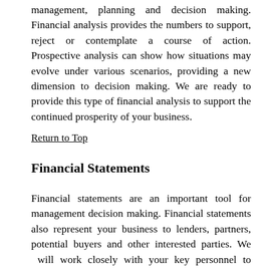management, planning and decision making. Financial analysis provides the numbers to support, reject or contemplate a course of action. Prospective analysis can show how situations may evolve under various scenarios, providing a new dimension to decision making. We are ready to provide this type of financial analysis to support the continued prosperity of your business.
Return to Top
Financial Statements
Financial statements are an important tool for management decision making. Financial statements also represent your business to lenders, partners, potential buyers and other interested parties. We will work closely with your key personnel to develop and finalize accurate and timely financial statements.